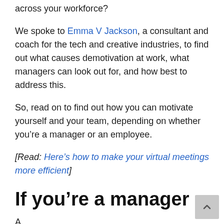across your workforce?
We spoke to Emma V Jackson, a consultant and coach for the tech and creative industries, to find out what causes demotivation at work, what managers can look out for, and how best to address this.
So, read on to find out how you can motivate yourself and your team, depending on whether you’re a manager or an employee.
[Read: Here’s how to make your virtual meetings more efficient]
If you’re a manager
A